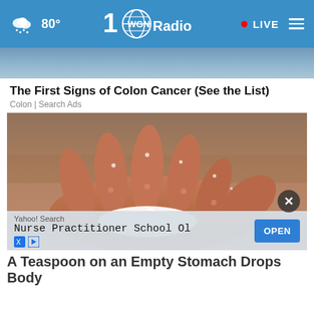80° WGN Radio • LIVE
[Figure (screenshot): Partial image at top of page showing blue/grey background, cropped from previous article]
The First Signs of Colon Cancer (See the List)
Colon | Search Ads
[Figure (photo): Close-up photo of a human hand holding white granular substance (salt or powder), sandy background]
Yahoo! Search
Nurse Practitioner School Ol
OPEN
A Teaspoon on an Empty Stomach Drops Body